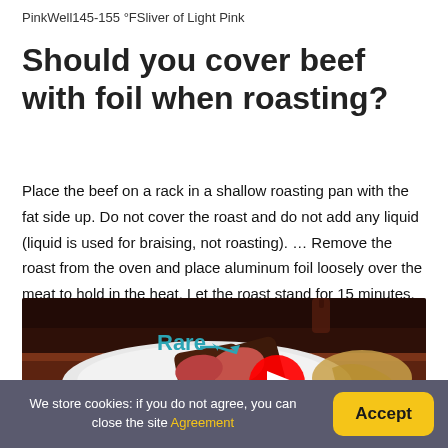PinkWell145-155 °FSliver of Light Pink
Should you cover beef with foil when roasting?
Place the beef on a rack in a shallow roasting pan with the fat side up. Do not cover the roast and do not add any liquid (liquid is used for braising, not roasting). … Remove the roast from the oven and place aluminum foil loosely over the meat to hold in the heat. Let the roast stand for 15 minutes.
[Figure (photo): Video thumbnail showing sliced beef steak on a white plate with garnish. Labels 'Rare' with an arrow and 'Medi' (Medium partially visible) overlaid in teal text. A red YouTube play button is visible in the center.]
We store cookies: if you do not agree, you can close the site Agreement